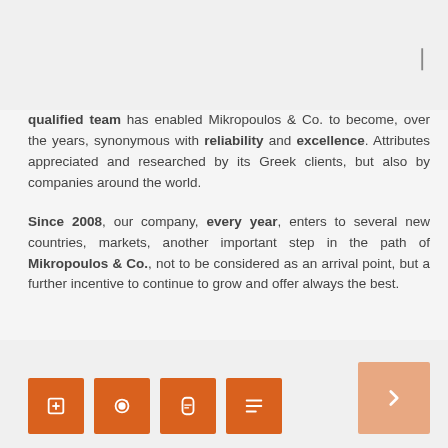qualified team has enabled Mikropoulos & Co. to become, over the years, synonymous with reliability and excellence. Attributes appreciated and researched by its Greek clients, but also by companies around the world.
Since 2008, our company, every year, enters to several new countries, markets, another important step in the path of Mikropoulos & Co., not to be considered as an arrival point, but a further incentive to continue to grow and offer always the best.
[social media icons and navigation button]